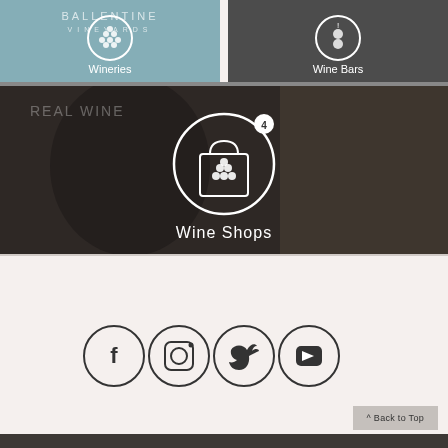[Figure (screenshot): Two image tiles side by side: left tile shows Ballentine Vineyards logo with circle icon labeled 'Wineries', right tile shows wine bar photo with circle icon labeled 'Wine Bars']
[Figure (screenshot): Full-width image tile showing wine shop storefront with smiling person and a shopping bag circle icon with badge '4', labeled 'Wine Shops']
[Figure (infographic): Footer area with four social media icons in circles: Facebook, Instagram, Twitter, YouTube]
^ Back to Top